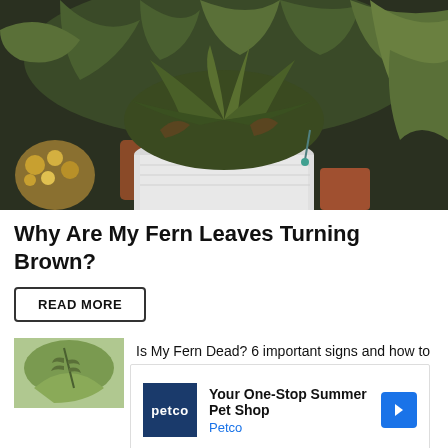[Figure (photo): Photo of potted fern plants with green foliage in a white pot, with other plants visible in the background]
Why Are My Fern Leaves Turning Brown?
READ MORE
[Figure (photo): Thumbnail image of fern plant]
Is My Fern Dead? 6 important signs and how to be
[Figure (other): Petco advertisement: Your One-Stop Summer Pet Shop - Petco]